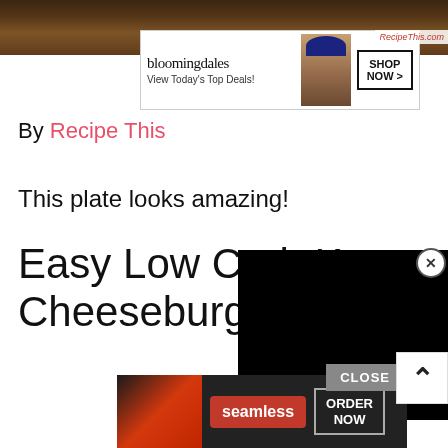[Figure (photo): Food photo at top of page showing a dark dish with noodles and sauce]
[Figure (screenshot): Bloomingdale's advertisement banner: 'View Today's Top Deals!' with model in hat and 'SHOP NOW >' button]
RecipeThis.com
By Recipe This
This plate looks amazing!
Easy Low Carb Ke... Cheeseburger Ca...
[Figure (screenshot): Black video player overlay with close X button in top right corner]
[Figure (screenshot): Seamless advertisement banner at bottom with pizza image, seamless logo, and ORDER NOW button with CLOSE button above it]